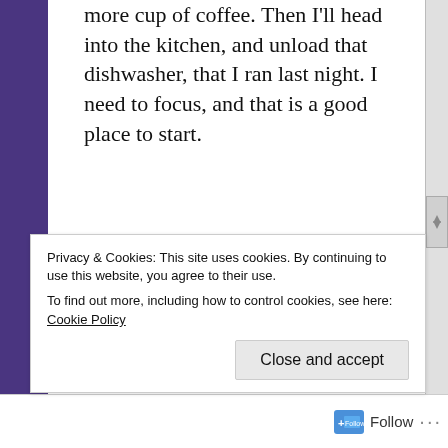more cup of coffee.  Then I'll head into the kitchen, and unload that dishwasher, that I ran last night.  I need to focus, and that is a good place to start.
Had the nap.  Never found any energy.  I have spent some time on Linked In today.  It was time for an update, and it is another way to share this Blog.  I am disappointed that I did not get more
Privacy & Cookies: This site uses cookies. By continuing to use this website, you agree to their use.
To find out more, including how to control cookies, see here: Cookie Policy
Close and accept
Follow ···